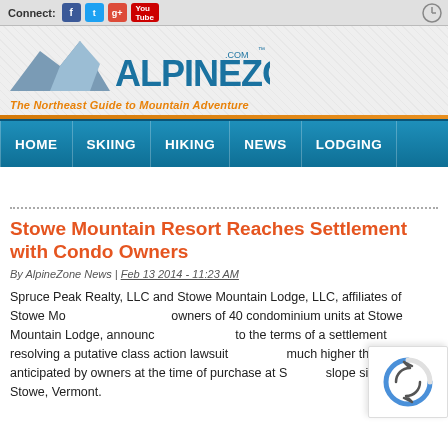Connect: [Facebook] [Twitter] [Google+] [YouTube]
[Figure (logo): AlpineZone.com logo with mountain graphic and tagline 'The Northeast Guide to Mountain Adventure']
HOME | SKIING | HIKING | NEWS | LODGING
Stowe Mountain Resort Reaches Settlement with Condo Owners
By AlpineZone News | Feb 13 2014 - 11:23 AM
Spruce Peak Realty, LLC and Stowe Mountain Lodge, LLC, affiliates of Stowe Mo... owners of 40 condominium units at Stowe Mountain Lodge, announc... to the terms of a settlement resolving a putative class action lawsuit... much higher than anticipated by owners at the time of purchase at S... slope side hotel in Stowe, Vermont.